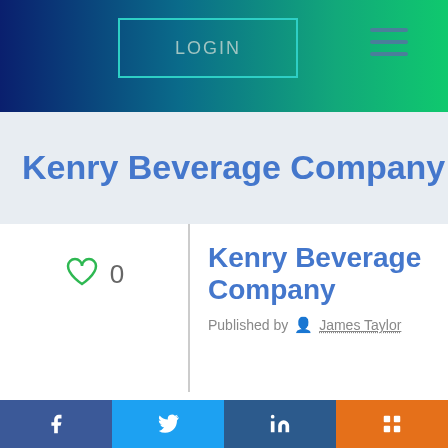[Figure (screenshot): Navigation bar with LOGIN button and hamburger menu on dark blue-to-green gradient background]
Kenry Beverage Company
Kenry Beverage Company
Published by James Taylor
Kenry Beverage Company is a company that is aimed at improving the health of people or providing diabetic people with a healthy beverage that will refresh their bodies without
[Figure (infographic): Social share buttons: Facebook, Twitter, LinkedIn, Mix]